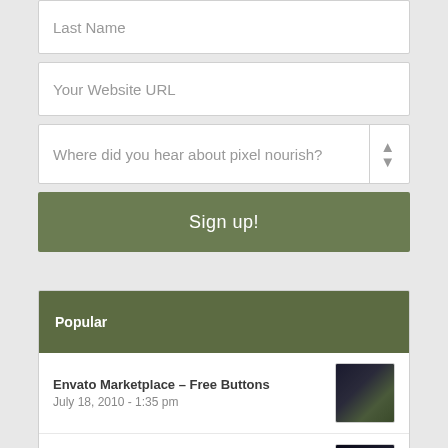Last Name
Your Website URL
Where did you hear about pixel nourish?
Sign up!
Popular
Envato Marketplace – Free Buttons
July 18, 2010 - 1:35 pm
[Figure (photo): Thumbnail for Envato Marketplace – Free Buttons post]
2012 Resolutions
January 10, 2012 - 8:30 am
[Figure (photo): Thumbnail for 2012 Resolutions post]
File updates
March 25, 2012 - 2:50 pm
[Figure (photo): Thumbnail for File updates post]
Recent